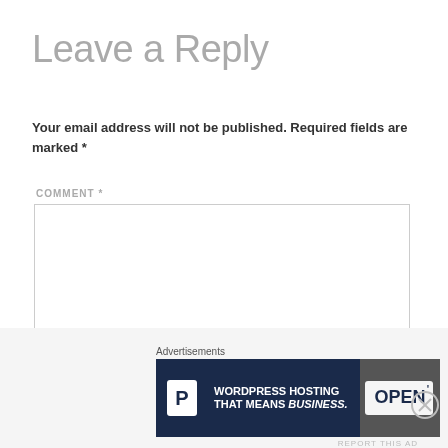Leave a Reply
Your email address will not be published. Required fields are marked *
COMMENT *
NAME
[Figure (screenshot): Advertisement banner for WordPress hosting with a P logo, text 'WORDPRESS HOSTING THAT MEANS BUSINESS.' and a photo of an OPEN sign]
Advertisements
REPORT THIS AD